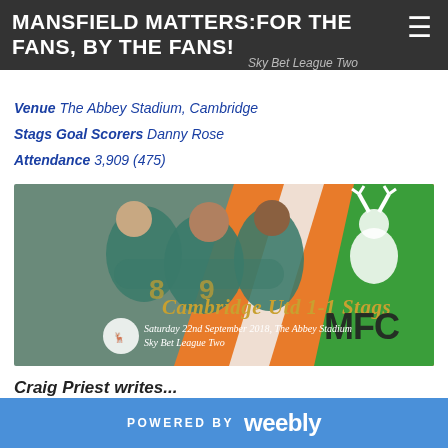MANSFIELD MATTERS:FOR THE FANS, BY THE FANS!
Venue The Abbey Stadium, Cambridge
Stags Goal Scorers Danny Rose
Attendance 3,909 (475)
[Figure (photo): Match graphic showing Cambridge Utd 1-1 Stags, Saturday 22nd September 2018, The Abbey Stadium, Sky Bet League Two. Three players in teal shirts celebrating, with orange, white and green diagonal background and Mansfield FC stag logo.]
Craig Priest writes...
POWERED BY weebly